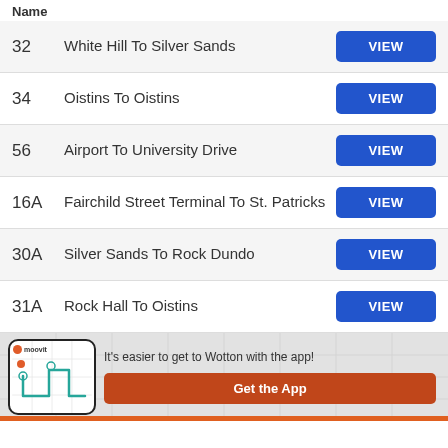Name
32  White Hill To Silver Sands  VIEW
34  Oistins To Oistins  VIEW
56  Airport To University Drive  VIEW
16A  Fairchild Street Terminal To St. Patricks  VIEW
30A  Silver Sands To Rock Dundo  VIEW
31A  Rock Hall To Oistins  VIEW
[Figure (screenshot): Moovit app promotional banner with phone mockup showing map, text 'It's easier to get to Wotton with the app!' and a 'Get the App' orange button]